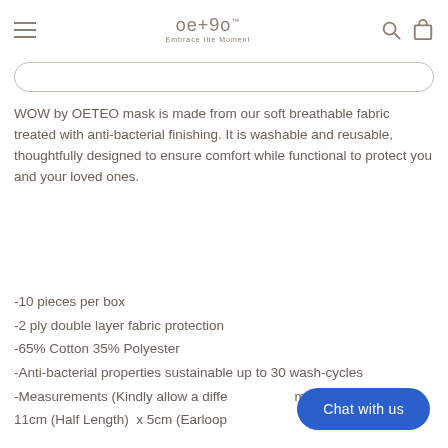oe+9o Embrace the Moment
WOW by OETEO mask is made from our soft breathable fabric treated with anti-bacterial finishing. It is washable and reusable, thoughtfully designed to ensure comfort while functional to protect you and your loved ones.
-10 pieces per box
-2 ply double layer fabric protection
-65% Cotton 35% Polyester
-Anti-bacterial properties sustainable up to 30 wash-cycles
-Measurements (Kindly allow a difference of 1cm): 13cm (Height) x 11cm (Half Length) x 5cm (Earloop